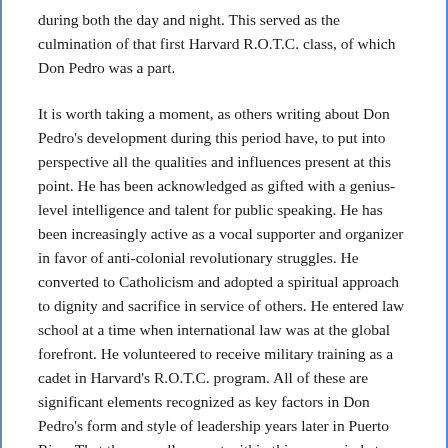during both the day and night. This served as the culmination of that first Harvard R.O.T.C. class, of which Don Pedro was a part.
It is worth taking a moment, as others writing about Don Pedro's development during this period have, to put into perspective all the qualities and influences present at this point. He has been acknowledged as gifted with a genius-level intelligence and talent for public speaking. He has been increasingly active as a vocal supporter and organizer in favor of anti-colonial revolutionary struggles. He converted to Catholicism and adopted a spiritual approach to dignity and sacrifice in service of others. He entered law school at a time when international law was at the global forefront. He volunteered to receive military training as a cadet in Harvard's R.O.T.C. program. All of these are significant elements recognized as key factors in Don Pedro's form and style of leadership years later in Puerto Rico. That they are all present within this one period at